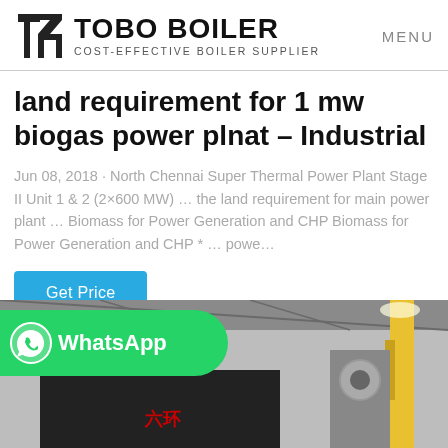TOBO BOILER COST-EFFECTIVE BOILER SUPPLIER | MENU
land requirement for 1 mw biogas power plnat – Industrial
Jun 08, 2018 · North Chennai Super Thermal Power Plant Stage II Unit 1 & 2 (2×600 MW) … the land requirement for main power plant … Biomass for Power Generation and CHP Biomass for Power Generation and CHP * … powe…
[Figure (screenshot): Blue 'Get Price' button]
[Figure (photo): WhatsApp green button overlay on industrial boiler factory photo showing large boiler equipment in a factory setting]